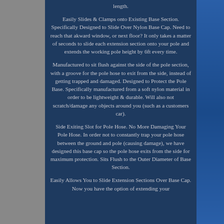length.
Easily Slides & Clamps onto Existing Base Section. Specifically Designed to Slide Over Nylon Base Cap. Need to reach that akward window, or next floor? It only takes a matter of seconds to slide each extension section onto your pole and extends the working pole height by 6ft every time.
Manufactured to sit flush against the side of the pole section, with a groove for the pole hose to exit from the side, instead of getting trapped and damaged. Designed to Protect the Pole Base. Specifically manufactured from a soft nylon material in order to be lightweight & durable. Will also not scratch/damage any objects around you (such as a customers car).
Side Exiting Slot for Pole Hose. No More Damaging Your Pole Hose. In order not to constantly trap your pole hose between the ground and pole (causing damage), we have designed this base cap so the pole hose exits from the side for maximum protection. Sits Flush to the Outer Diameter of Base Section.
Easily Allows You to Slide Extension Sections Over Base Cap. Now you have the option of extending your